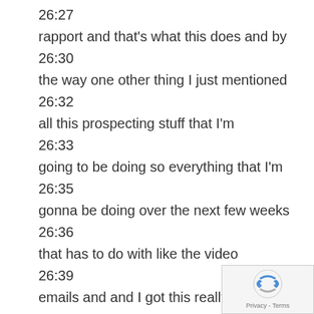26:27
rapport and that's what this does and by
26:30
the way one other thing I just mentioned
26:32
all this prospecting stuff that I'm
26:33
going to be doing so everything that I'm
26:35
gonna be doing over the next few weeks
26:36
that has to do with like the video
26:39
emails and and I got this really awesome
26:41
video email app right
26:44